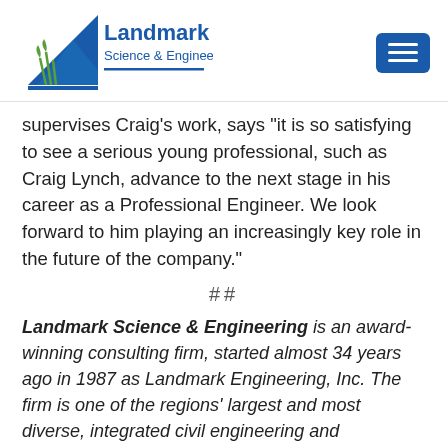[Figure (logo): Landmark Science & Engineering logo with blue triangle/grass graphic and company name]
supervises Craig’s work, says “it is so satisfying to see a serious young professional, such as Craig Lynch, advance to the next stage in his career as a Professional Engineer. We look forward to him playing an increasingly key role in the future of the company.”
##
Landmark Science & Engineering is an award-winning consulting firm, started almost 34 years ago in 1987 as Landmark Engineering, Inc. The firm is one of the regions’ largest and most diverse, integrated civil engineering and environmental science consulting firm...